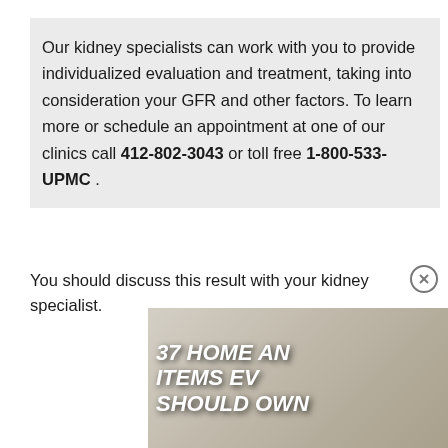Our kidney specialists can work with you to provide individualized evaluation and treatment, taking into consideration your GFR and other factors. To learn more or schedule an appointment at one of our clinics call 412-802-3043 or toll free 1-800-533-UPMC .
You should discuss this result with your kidney specialist.
[Figure (screenshot): Advertisement overlay showing '37 HOME AND... ITEMS EV... SHOULD OWN' with a teal badge showing '22 WORDS' and a black video panel with a loading circle on the right side.]